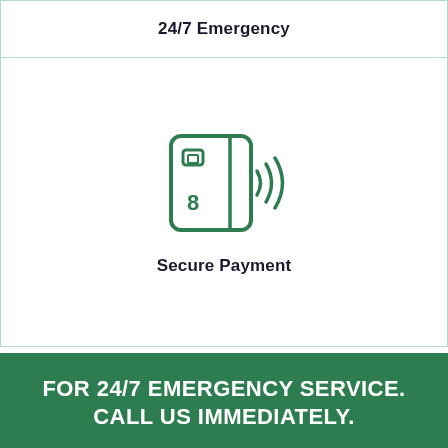24/7 Emergency
[Figure (illustration): Green outline icon of a contactless payment credit card with wireless signal waves on the right side]
Secure Payment
Home » Illinois » Springfield
FOR 24/7 EMERGENCY SERVICE. CALL US IMMEDIATELY.